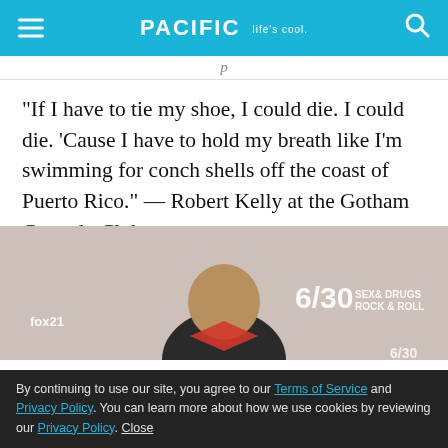PACIFIC Life's cool.
“If I have to tie my shoe, I could die. I could die. ‘Cause I have to hold my breath like I’m swimming for conch shells off the coast of Puerto Rico.” — Robert Kelly at the Gotham Comedy Club
@ The American Comedy Co., americancomedyco.com
[Figure (photo): Photo of a bald man with red graphic element, with text overlay showing 6/30, fox21, and SEX & DRUGS ROCK & ROLL]
By continuing to use our site, you agree to our Terms of Service and Privacy Policy. You can learn more about how we use cookies by reviewing our Privacy Policy. Close